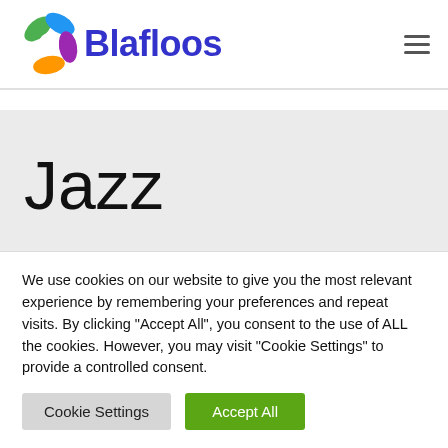Blafloos
Jazz
We use cookies on our website to give you the most relevant experience by remembering your preferences and repeat visits. By clicking “Accept All”, you consent to the use of ALL the cookies. However, you may visit "Cookie Settings" to provide a controlled consent.
Cookie Settings
Accept All